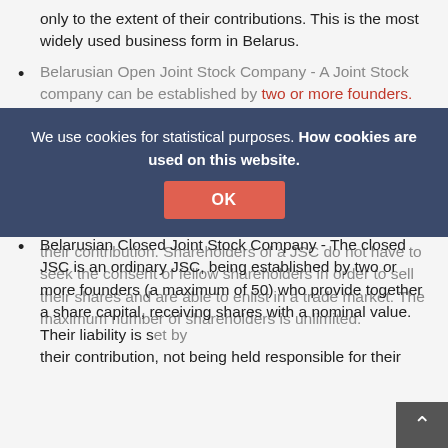only to the extent of their contributions. This is the most widely used business form in Belarus.
Belarusian Open Joint Stock Company - A Joint Stock company can be established by two or more founders. They must provide a share capital divided into shares nominated in the company charter. Usually, the minimum authorized capital for this business form is approximately 4,000 euros. Shareholders of this company type are not held responsible for the losses and debts of the JSC with their personal assets, having a liability limited to their contribution. Shareholders of a JSC do not have to seek the consent of fellow shareholders in order to sell their shares and are able to enlist in a trade market. The maximum number of shareholders is unlimited.
Belarusian Closed Joint Stock Company - The closed JSC is an ordinary JSC, being established by two or more founders (a maximum of 50) who provide together a share capital, receiving shares with a nominal value. Their liability is set by their contribution, not being held responsible for their
We use cookies for statistical purposes. How cookies are used on this website.
OK